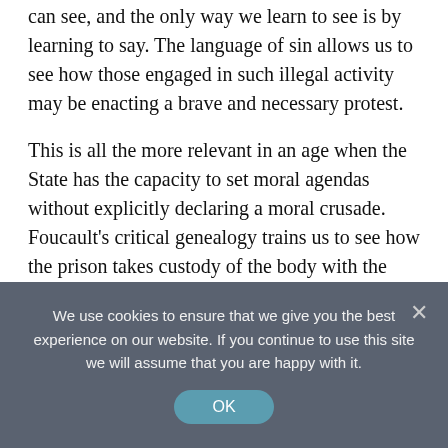can see, and the only way we learn to see is by learning to say. The language of sin allows us to see how those engaged in such illegal activity may be enacting a brave and necessary protest.
This is all the more relevant in an age when the State has the capacity to set moral agendas without explicitly declaring a moral crusade. Foucault's critical genealogy trains us to see how the prison takes custody of the body with the ambition of achieving conversion of the soul. Such processes do not serve the aims of God, or justice, or primal peace, but the intentions of the powers-that-be. Those invested in policy formation have a particular responsibility
We use cookies to ensure that we give you the best experience on our website. If you continue to use this site we will assume that you are happy with it.